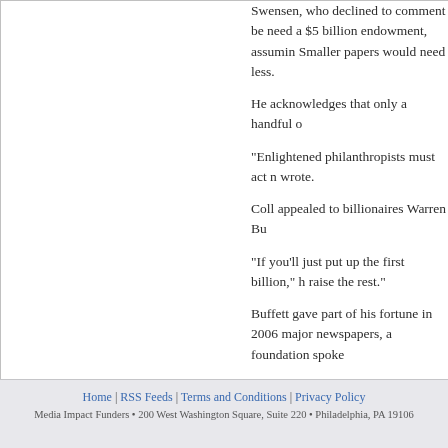Swensen, who declined to comment be... need a $5 billion endowment, assuming... Smaller papers would need less.
He acknowledges that only a handful o...
"Enlightened philanthropists must act n... wrote.
Coll appealed to billionaires Warren Bu...
"If you'll just put up the first billion," h... raise the rest."
Buffett gave part of his fortune in 2006... major newspapers, a foundation spoke...
In a statement, the Council on Foundat... still needs to be determined."
Charles Lewis, who started the nonpro... the future of good journalism could rid... crisis and try to solve it. This is a failu...
Home | RSS Feeds | Terms and Conditions | Privacy Policy
Media Impact Funders • 200 West Washington Square, Suite 220 • Philadelphia, PA 19106